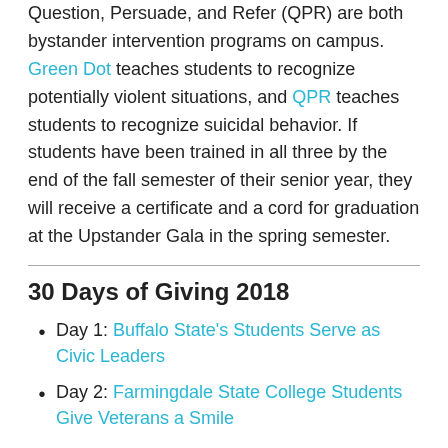Question, Persuade, and Refer (QPR) are both bystander intervention programs on campus. Green Dot teaches students to recognize potentially violent situations, and QPR teaches students to recognize suicidal behavior. If students have been trained in all three by the end of the fall semester of their senior year, they will receive a certificate and a cord for graduation at the Upstander Gala in the spring semester.
30 Days of Giving 2018
Day 1: Buffalo State's Students Serve as Civic Leaders
Day 2: Farmingdale State College Students Give Veterans a Smile
Day 3: Tompkins Cortland Community College...